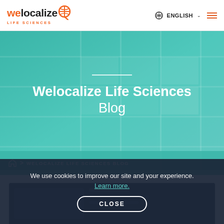[Figure (logo): Welocalize Life Sciences orange and dark logo with globe Q icon]
ENGLISH ☰
[Figure (photo): Teal-tinted hero banner background showing office/lab windows]
Welocalize Life Sciences Blog
⌂ > WELOCALIZE LIFE SCIENCES BLOG
[Figure (photo): Dark blue card preview at bottom]
We use cookies to improve our site and your experience. Learn more.
CLOSE